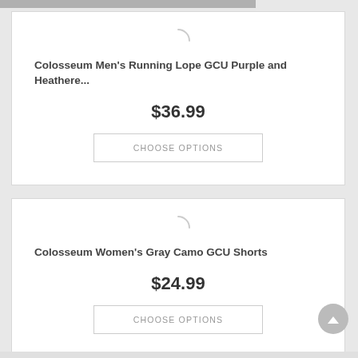Colosseum Men's Running Lope GCU Purple and Heathere...
$36.99
CHOOSE OPTIONS
Colosseum Women's Gray Camo GCU Shorts
$24.99
CHOOSE OPTIONS